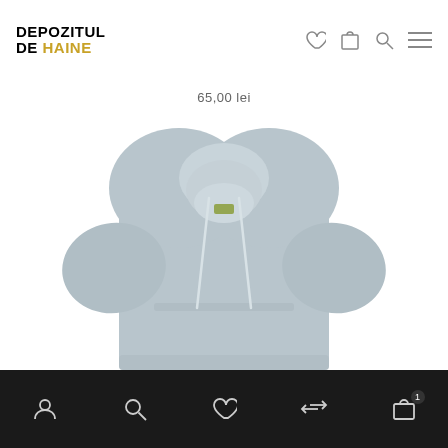DEPOZITUL DE HAINE
65,00 lei
[Figure (photo): Light gray oversized hoodie with drawstring hood and small label, shown on white background]
Bottom navigation bar with account, search, wishlist, compare, and cart icons